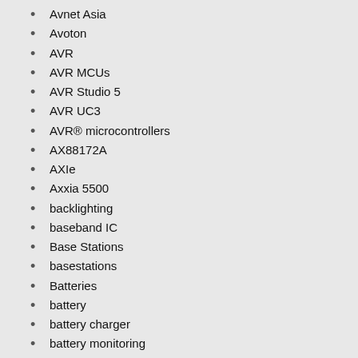Avnet Asia
Avoton
AVR
AVR MCUs
AVR Studio 5
AVR UC3
AVR® microcontrollers
AX88172A
AXIe
Axxia 5500
backlighting
baseband IC
Base Stations
basestations
Batteries
battery
battery charger
battery monitoring
battery sensor